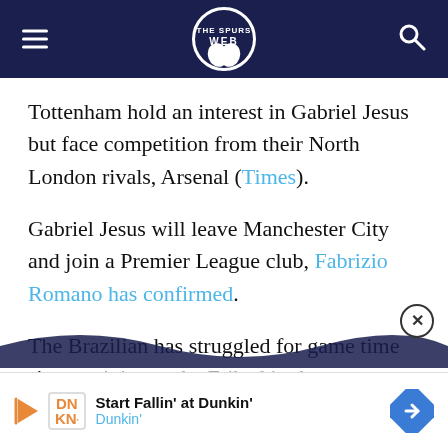Spurs Web
Tottenham hold an interest in Gabriel Jesus but face competition from their North London rivals, Arsenal (Times).
Gabriel Jesus will leave Manchester City and join a Premier League club, Fabrizio Romano has confirmed.
The Brazilian has struggled for game time since arriving at the Etihad in the summer of
[Figure (infographic): Advertisement banner for Dunkin' with play icon, DN KN logo, 'Start Fallin' at Dunkin'' text, and a blue diamond-shaped arrow icon.]